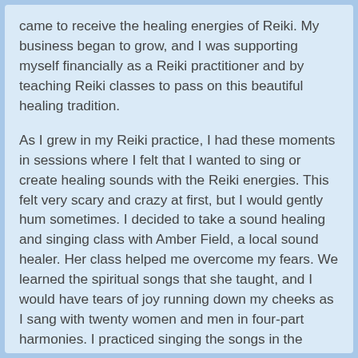came to receive the healing energies of Reiki. My business began to grow, and I was supporting myself financially as a Reiki practitioner and by teaching Reiki classes to pass on this beautiful healing tradition.

As I grew in my Reiki practice, I had these moments in sessions where I felt that I wanted to sing or create healing sounds with the Reiki energies. This felt very scary and crazy at first, but I would gently hum sometimes. I decided to take a sound healing and singing class with Amber Field, a local sound healer. Her class helped me overcome my fears. We learned the spiritual songs that she taught, and I would have tears of joy running down my cheeks as I sang with twenty women and men in four-part harmonies. I practiced singing the songs in the shower, walking on the streets, while I cooked dinner—and soon I felt as if they were a part of me. I began singing to others in some